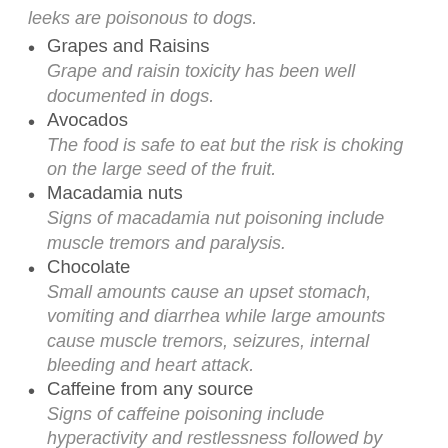leeks are poisonous to dogs.
Grapes and Raisins
Grape and raisin toxicity has been well documented in dogs.
Avocados
The food is safe to eat but the risk is choking on the large seed of the fruit.
Macadamia nuts
Signs of macadamia nut poisoning include muscle tremors and paralysis.
Chocolate
Small amounts cause an upset stomach, vomiting and diarrhea while large amounts cause muscle tremors, seizures, internal bleeding and heart attack.
Caffeine from any source
Signs of caffeine poisoning include hyperactivity and restlessness followed by